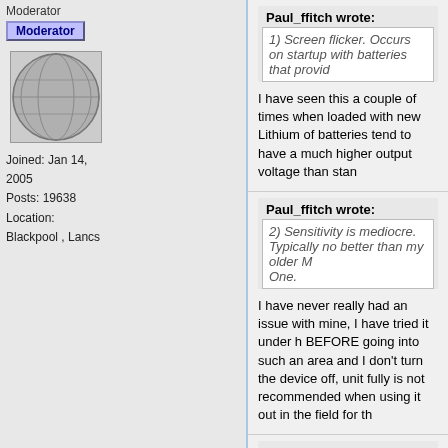Moderator
Moderator
[Figure (illustration): Grayscale globe/earth avatar image]
Joined: Jan 14, 2005
Posts: 19638
Location: Blackpool , Lancs
Paul_ffitch wrote:
1) Screen flicker. Occurs on startup with batteries that provid
I have seen this a couple of times when loaded with new Lithium of batteries tend to have a much higher output voltage than stan
Paul_ffitch wrote:
2) Sensitivity is mediocre. Typically no better than my older M One.
I have never really had an issue with mine, I have tried it under h BEFORE going into such an area and I don't turn the device off, unit fully is not recommended when using it out in the field for th
Paul_ffitch wrote:
3) No route download and track upload facility, in spite of pro
This is a shame, but we live in hope, you can get data from the r or Memory Map then transposing the data to be compatible is so
Paul_ffitch wrote:
4) You have to pay all over again for OS mapping data, even 1:25k.
This is a bit you have to take with the unit. I to have MM software